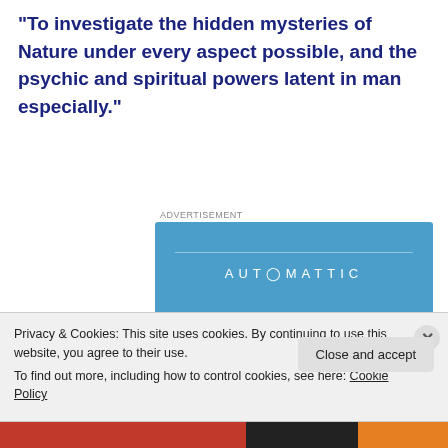“To investigate the hidden mysteries of Nature under every aspect possible, and the psychic and spiritual powers latent in man especially.”
[Figure (other): Automattic advertisement banner with blue background, logo text AUTOMATTIC, tagline 'Love working again.' and an Apply button]
Privacy & Cookies: This site uses cookies. By continuing to use this website, you agree to their use.
To find out more, including how to control cookies, see here: Cookie Policy